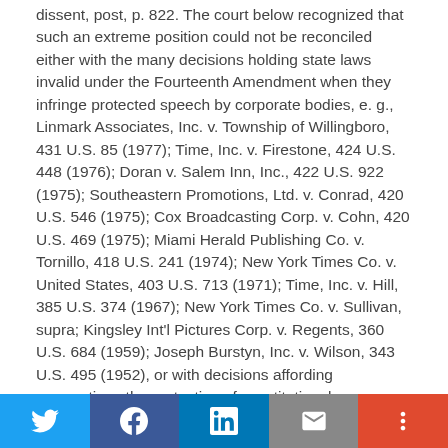dissent, post, p. 822. The court below recognized that such an extreme position could not be reconciled either with the many decisions holding state laws invalid under the Fourteenth Amendment when they infringe protected speech by corporate bodies, e. g., Linmark Associates, Inc. v. Township of Willingboro, 431 U.S. 85 (1977); Time, Inc. v. Firestone, 424 U.S. 448 (1976); Doran v. Salem Inn, Inc., 422 U.S. 922 (1975); Southeastern Promotions, Ltd. v. Conrad, 420 U.S. 546 (1975); Cox Broadcasting Corp. v. Cohn, 420 U.S. 469 (1975); Miami Herald Publishing Co. v. Tornillo, 418 U.S. 241 (1974); New York Times Co. v. United States, 403 U.S. 713 (1971); Time, Inc. v. Hill, 385 U.S. 374 (1967); New York Times Co. v. Sullivan, supra; Kingsley Int'l Pictures Corp. v. Regents, 360 U.S. 684 (1959); Joseph Burstyn, Inc. v. Wilson, 343 U.S. 495 (1952), or with decisions affording corporations the protection of constitutional guarantees other than the First Amendment. E. g., United States v. Martin
Social sharing bar: Twitter, Facebook, LinkedIn, Email, More